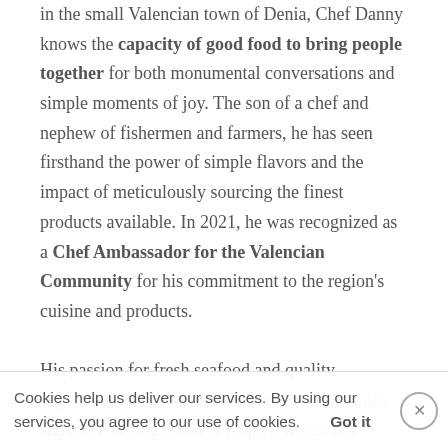in the small Valencian town of Denia, Chef Danny knows the capacity of good food to bring people together for both monumental conversations and simple moments of joy. The son of a chef and nephew of fishermen and farmers, he has seen firsthand the power of simple flavors and the impact of meticulously sourcing the finest products available. In 2021, he was recognized as a Chef Ambassador for the Valencian Community for his commitment to the region's cuisine and products.

His passion for fresh seafood and quality vegetables can be witnessed in every dish on his signature tasting menu at Xiquet, which is a perfectly balanced culinary experience, from bite to bite and course to course.
Cookies help us deliver our services. By using our services, you agree to our use of cookies.      Got it